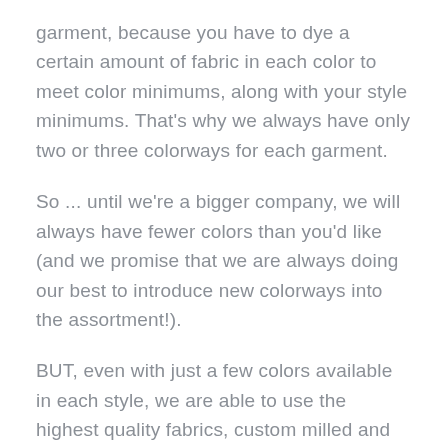garment, because you have to dye a certain amount of fabric in each color to meet color minimums, along with your style minimums. That's why we always have only two or three colorways for each garment.
So ... until we're a bigger company, we will always have fewer colors than you'd like (and we promise that we are always doing our best to introduce new colorways into the assortment!).
BUT, even with just a few colors available in each style, we are able to use the highest quality fabrics, custom milled and dyed for us, while maintaining complete control over the fit and feel of every garment.